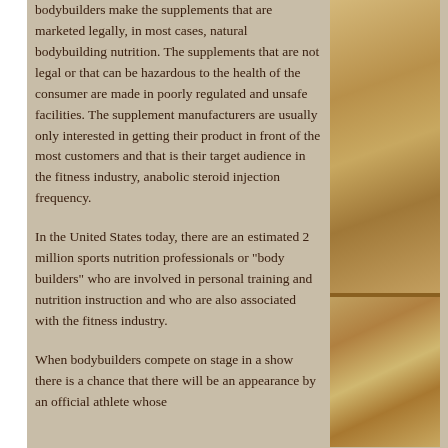bodybuilders make the supplements that are marketed legally, in most cases, natural bodybuilding nutrition. The supplements that are not legal or that can be hazardous to the health of the consumer are made in poorly regulated and unsafe facilities. The supplement manufacturers are usually only interested in getting their product in front of the most customers and that is their target audience in the fitness industry, anabolic steroid injection frequency.
In the United States today, there are an estimated 2 million sports nutrition professionals or "body builders" who are involved in personal training and nutrition instruction and who are also associated with the fitness industry.
When bodybuilders compete on stage in a show there is a chance that there will be an appearance by an official athlete whose
[Figure (photo): Wood grain texture panels on the right side of the page, showing natural wood grain patterns in tan and brown tones, divided into sections by dark horizontal dividers.]